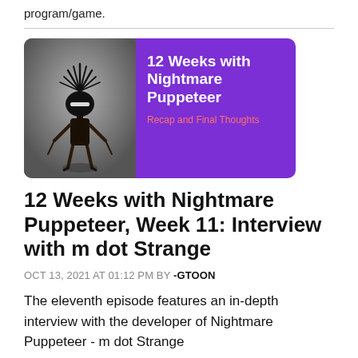program/game.
[Figure (illustration): A promotional card with a purple background showing a dark puppet-like creature figure on the left, and text '12 Weeks with Nightmare Puppeteer' and 'Recap and Final Thoughts' on the right.]
12 Weeks with Nightmare Puppeteer, Week 11: Interview with m dot Strange
OCT 13, 2021 AT 01:12 PM BY -GTOON
The eleventh episode features an in-depth interview with the developer of Nightmare Puppeteer - m dot Strange